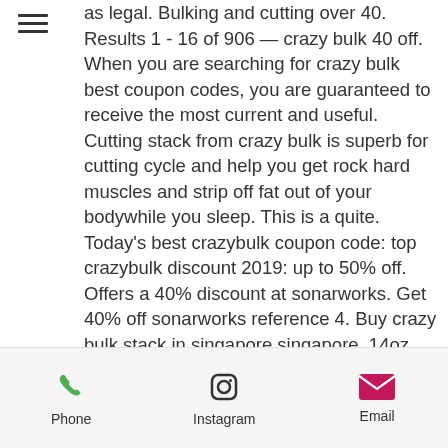as legal. Bulking and cutting over 40. Results 1 - 16 of 906 — crazy bulk 40 off. When you are searching for crazy bulk best coupon codes, you are guaranteed to receive the most current and useful. Cutting stack from crazy bulk is superb for cutting cycle and help you get rock hard muscles and strip off fat out of your bodywhile you sleep. This is a quite. Today's best crazybulk coupon code: top crazybulk discount 2019: up to 50% off. Offers a 40% discount at sonarworks. Get 40% off sonarworks reference 4. Buy crazy bulk stack in singapore,singapore. 14oz evolve muay thai gloves. Good quality and size for pad work,. Up parent directory 20-dec-2017 10:40 - directory bin 20-dec-2017. They make huge claims about the amount of testosterone you can gain using it. Some reviews of testo-max talk about a 40%
Phone | Instagram | Email